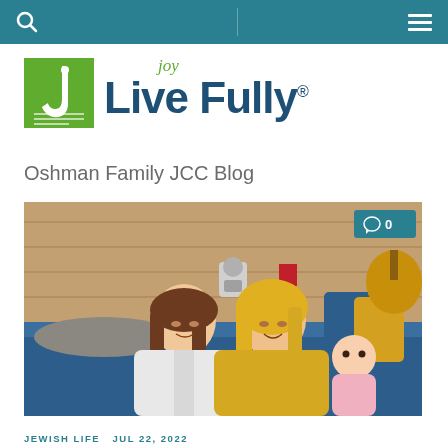Navigation bar with search and menu icons
[Figure (logo): Oshman Family Jewish Community Center green square logo with stylized J and text]
Live joy Fully® — Oshman Family JCC Blog
[Figure (photo): Two women sitting on a blue couch — one in white jacket with long brown hair, one wearing a yellow hijab holding a baby in pink — in front of a wood-paneled wall with decorative items and musical instrument. Comment badge showing 0 comments in upper right.]
JEWISH LIFE  JUL 22, 2022